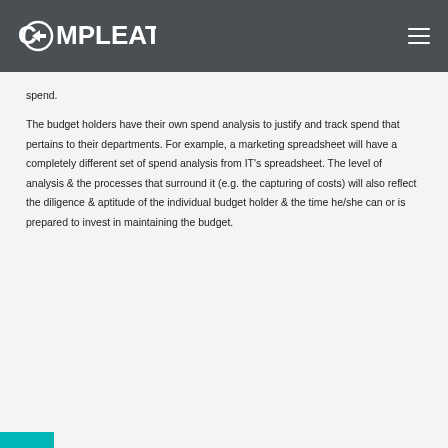COMPLEAT
spend.
The budget holders have their own spend analysis to justify and track spend that pertains to their departments. For example, a marketing spreadsheet will have a completely different set of spend analysis from IT's spreadsheet. The level of analysis & the processes that surround it (e.g. the capturing of costs) will also reflect the diligence & aptitude of the individual budget holder & the time he/she can or is prepared to invest in maintaining the budget.